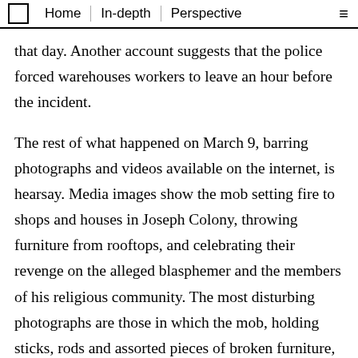Home | In-depth | Perspective
that day. Another account suggests that the police forced warehouses workers to leave an hour before the incident.
The rest of what happened on March 9, barring photographs and videos available on the internet, is hearsay. Media images show the mob setting fire to shops and houses in Joseph Colony, throwing furniture from rooftops, and celebrating their revenge on the alleged blasphemer and the members of his religious community. The most disturbing photographs are those in which the mob, holding sticks, rods and assorted pieces of broken furniture, poses for the camera with